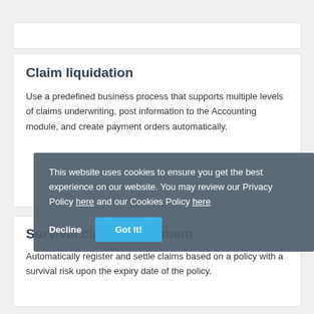Claim liquidation
Use a predefined business process that supports multiple levels of claims underwriting, post information to the Accounting module, and create payment orders automatically.
Survival claims settlement
Automatically register and settle claims based on a policy with a survival risk upon the expiry date of the policy.
This website uses cookies to ensure you get the best experience on our website. You may review our Privacy Policy here and our Cookies Policy here